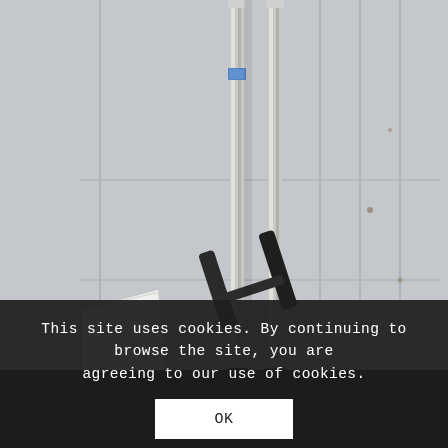[Figure (photo): Close-up photo of metal crutches with black grip handles leaning against a white painted metal door or wall with rust spots and vertical ridges. A blue label or tag is visible on one of the crutch poles near the top.]
This site uses cookies. By continuing to browse the site, you are agreeing to our use of cookies.
OK